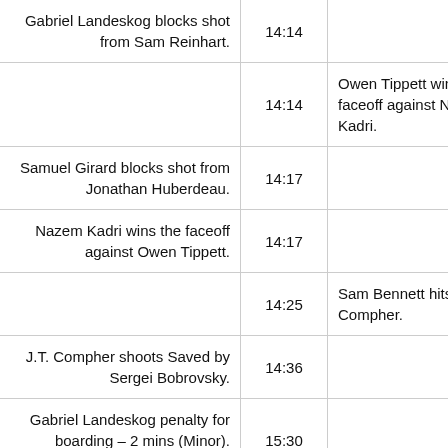| Colorado | Time | Florida |
| --- | --- | --- |
| Gabriel Landeskog blocks shot from Sam Reinhart. | 14:14 |  |
|  | 14:14 | Owen Tippett wins the faceoff against Nazem Kadri. |
| Samuel Girard blocks shot from Jonathan Huberdeau. | 14:17 |  |
| Nazem Kadri wins the faceoff against Owen Tippett. | 14:17 |  |
|  | 14:25 | Sam Bennett hits J.T. Compher. |
| J.T. Compher shoots Saved by Sergei Bobrovsky. | 14:36 |  |
| Gabriel Landeskog penalty for boarding – 2 mins (Minor). Drawn by Aaron Ekblad. | 15:30 |  |
| Tyson Jost wins the faceoff | 15:30 |  |